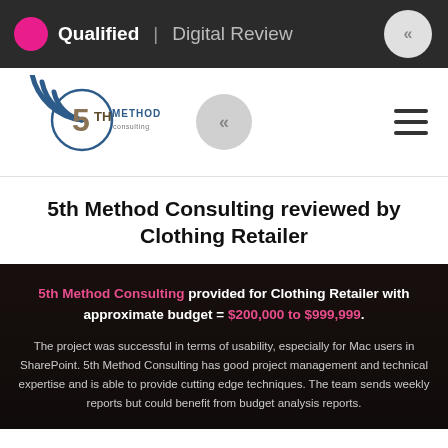Qualified | Digital Review
[Figure (logo): 5th Method Consulting logo with circular arc design in blue and gold/brown text]
5th Method Consulting reviewed by Clothing Retailer
5th Method Consulting provided for Clothing Retailer with approximate budget = $200,000 to $999,999.
The project was successful in terms of usability, especially for Mac users in SharePoint. 5th Method Consulting has good project management and technical expertise and is able to provide cutting edge techniques. The team sends weekly reports but could benefit from budget analysis reports.